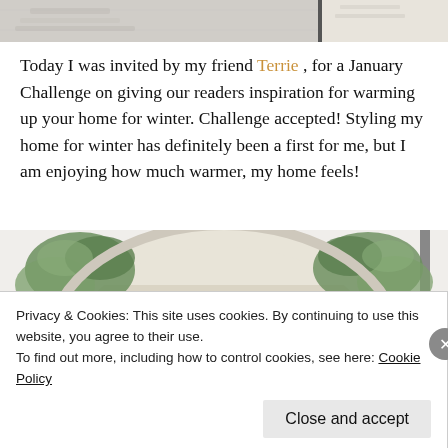[Figure (photo): Partial top strip showing two cropped home decor photos side by side — left appears to show a couch/chair area, right appears to show a light-colored surface or countertop.]
Today I was invited by my friend Terrie , for a January Challenge on giving our readers inspiration for warming up your home for winter. Challenge accepted! Styling my home for winter has definitely been a first for me, but I am enjoying how much warmer, my home feels!
[Figure (photo): An oval white-framed mirror with louvered/slatted interior, flanked by greenery/eucalyptus leaves on both sides, against a white wall with a dark vertical element on the right.]
Privacy & Cookies: This site uses cookies. By continuing to use this website, you agree to their use.
To find out more, including how to control cookies, see here: Cookie Policy
Close and accept